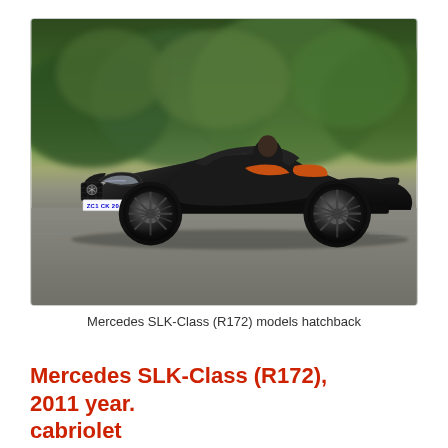[Figure (photo): A black Mercedes SLK-Class (R172) convertible/cabriolet driving on a road with blurred green trees in the background. The car has orange interior seats visible, large alloy wheels, and a UK license plate reading ZC1 CK 20.]
Mercedes SLK-Class (R172) models hatchback
Mercedes SLK-Class (R172), 2011 year. cabriolet